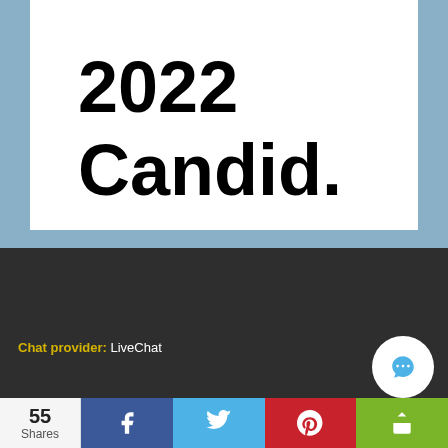[Figure (illustration): Partial view of a document or badge showing '2022' at top and 'Candid.' below, on white background inside a light blue framed box]
Chat provider: LiveChat
55 Shares